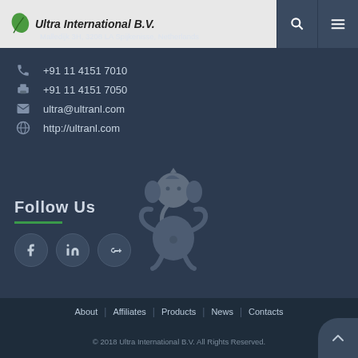Ultra International B.V. | Malledijk 3H, 3208 LA Spijkenisse, Netherlands
+91 11 4151 7010
+91 11 4151 7050
ultra@ultranl.com
http://ultranl.com
Follow Us
[Figure (illustration): Ganesha deity illustration in grey]
Social media icons: Facebook, LinkedIn, Google+
About   Affiliates   Products   News   Contacts
© 2018 Ultra International B.V. All Rights Reserved.